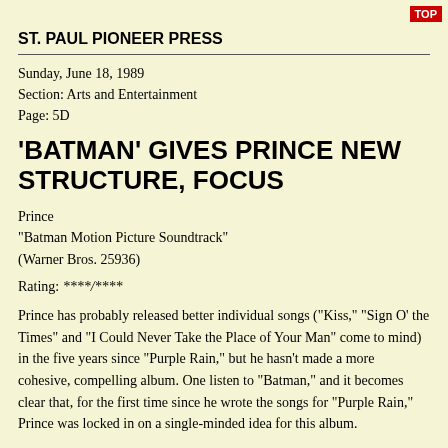TOP
ST. PAUL PIONEER PRESS
Sunday, June 18, 1989
Section: Arts and Entertainment
Page: 5D
'BATMAN' GIVES PRINCE NEW STRUCTURE, FOCUS
Prince
"Batman Motion Picture Soundtrack"
(Warner Bros. 25936)
Rating: ****/****
Prince has probably released better individual songs ("Kiss," "Sign O' the Times" and "I Could Never Take the Place of Your Man" come to mind) in the five years since "Purple Rain," but he hasn't made a more cohesive, compelling album. One listen to "Batman," and it becomes clear that, for the first time since he wrote the songs for "Purple Rain," Prince was locked in on a single-minded idea for this album.